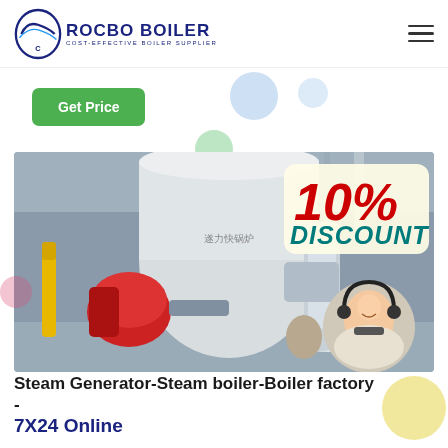ROCBO BOILER - COST-EFFECTIVE BOILER SUPPLIER
[Figure (logo): Rocbo Boiler logo with circular wave icon and text 'ROCBO BOILER / COST-EFFECTIVE BOILER SUPPLIER' in dark blue]
Get Price
[Figure (photo): Industrial gas steam boiler in a factory setting with silver pipes, red burner unit, and yellow gas pipe on left. Overlay shows '10% DISCOUNT' badge in red and teal, and a customer service representative with headset in a circular frame at bottom right.]
Steam Generator-Steam boiler-Boiler factory - 7X24 Online